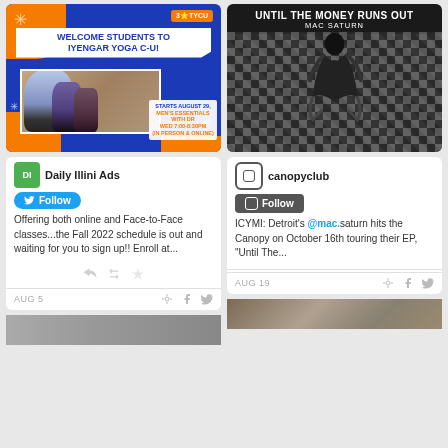[Figure (illustration): Yoga studio promotional image with blue and orange background, 'Welcome Students to Iyengar Yoga C-U!' text banner, photo of yoga students, and class details: Starts August 29, Men's Essentials with DR, Wed 7:00-8:30PM, In Person & Online]
Daily Illini Ads
Follow
Offering both online and Face-to-Face classes...the Fall 2022 schedule is out and waiting for you to sign up!! Enroll at...
AUG 5
[Figure (photo): Black and white album cover photo for 'Until The Money Runs Out' by Mac Saturn, showing a person dancing/spinning on a checkered floor from above]
canopyclub
Follow
ICYMI: Detroit's @mac.saturn hits the Canopy on October 16th touring their EP, "Until The..."
AUG 19
[Figure (photo): Partial photo at bottom right, appears to show a textured surface or book]